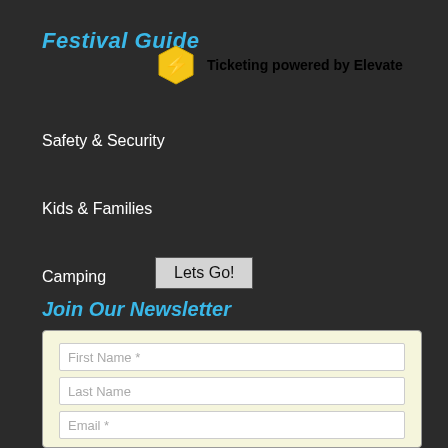Festival Guide
[Figure (logo): Yellow hexagon icon with black lightning bolt inside, followed by bold text: Ticketing powered by Elevate]
Safety & Security
Kids & Families
Camping
Lets Go!
Join Our Newsletter
First Name *
Last Name
Email *